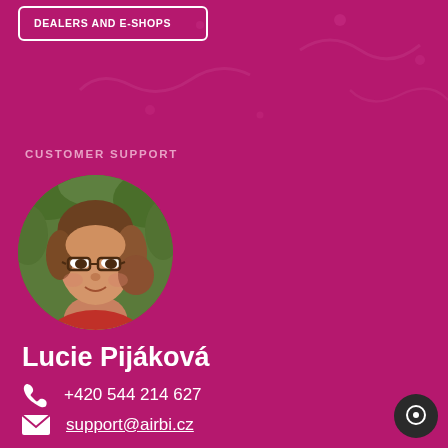DEALERS AND E-SHOPS
CUSTOMER SUPPORT
[Figure (photo): Circular portrait photo of Lucie Pijáková, a woman with glasses and medium-length brown hair, wearing a red patterned top, with green foliage in the background.]
Lucie Pijáková
+420 544 214 627
support@airbi.cz
Contact